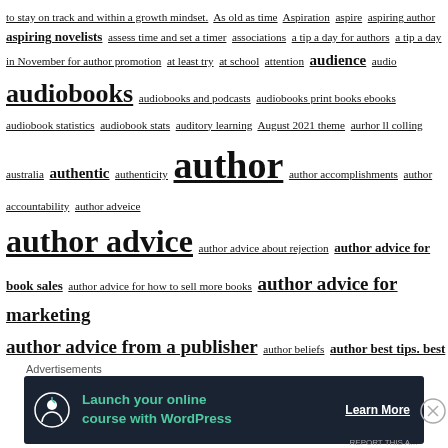to stay on track and within a growth mindset. As old as time Aspiration aspire aspiring author aspiring novelists assess time and set a timer associations a tip a day for authors a tip a day in November for author promotion at least try at school attention audience audio audiobooks audiobooks and podcasts audiobooks print books ebooks audiobook statistics audiobook stats auditory learning August 2021 theme aurhor ll colling australia authentic authenticity author author accomplishments author accountability author adveice author advice author advice about rejection author advice for book sales author advice for how to sell more books author advice for marketing author advice from a publisher author beliefs author best tips. best tips for authors author birthdays author blog benefits author blogging author booking tips author book marketing author book promotion author bookstore tips author brand author branding author business author challenge author challenge for october author challenge october author challenge of the day author clarity author collaboration author
[Figure (other): Advertisement banner: 'Launch your online course with WordPress' with Learn More button on dark navy background]